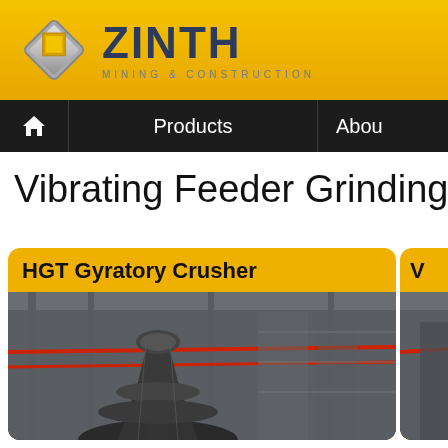[Figure (logo): ZINTH Mining & Construction logo with hexagonal 3D diamond icon and company name]
Products
About
Vibrating Feeder Grinding Mill C
HGT Gyratory Crusher
[Figure (photo): HGT Gyratory Crusher industrial machinery photo in a large facility]
V
[Figure (photo): Partial view of second product card photo]